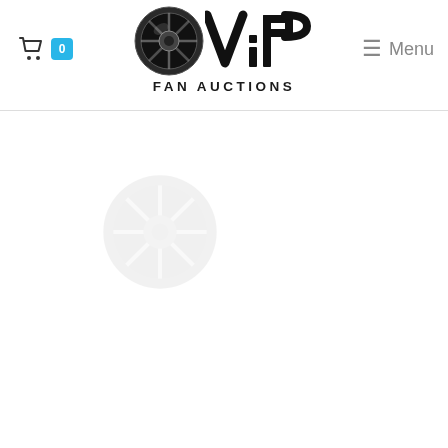[Figure (logo): VIP Fan Auctions logo with film reel and bold VIP text above 'FAN AUCTIONS' text]
0
≡ Menu